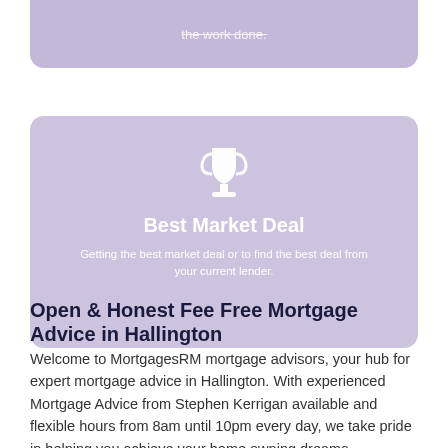[Figure (other): Top purple/lavender rounded card with strikethrough white text partially visible at top of page]
[Figure (other): Lavender card with white trophy icon, heading 'Best Market Deal', and subtext about getting the best market deal or finding the best deal from your current lender]
Open & Honest Fee Free Mortgage Advice in Hallington
Welcome to MortgagesRM mortgage advisors, your hub for expert mortgage advice in Hallington. With experienced Mortgage Advice from Stephen Kerrigan available and flexible hours from 8am until 10pm every day, we take pride in helping you achieve your home owning dreams.
Stephen Kerrigan, our mortgage broker for the Hallington area will help you throughout the application. We search thousands of mortgage deals to find the best loan option